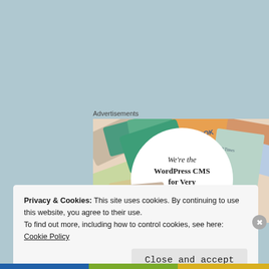Advertisements
[Figure (screenshot): WordPress CMS advertisement image showing colorful business cards/documents with Meta, Facebook logos and text 'We're the WordPress CMS for Very Important Content']
But this perfect posse of procreating women alludes me, and I can't help but wonder, why?
Privacy & Cookies: This site uses cookies. By continuing to use this website, you agree to their use.
To find out more, including how to control cookies, see here: Cookie Policy
Close and accept